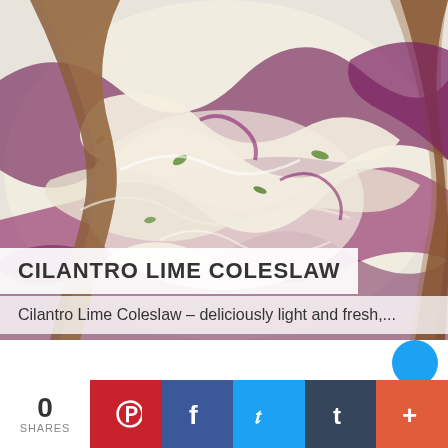[Figure (photo): Close-up photo of cilantro lime coleslaw with purple and green cabbage being served with wooden spoons]
CILANTRO LIME COLESLAW
Cilantro Lime Coleslaw – deliciously light and fresh,...
0
SHARES
[Figure (infographic): Social sharing bar with Pinterest (red), Facebook (blue), Twitter (light blue), Tumblr (dark blue), and plus (orange) buttons]